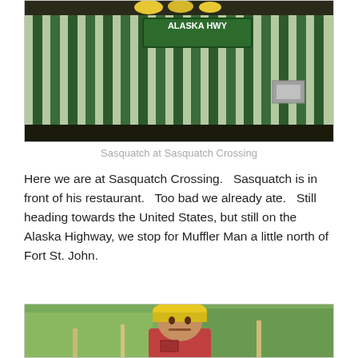[Figure (photo): Photo of Alaska Hwy sign on green railing/fence structure, with yellow objects on top railing]
Sasquatch at Sasquatch Crossing
Here we are at Sasquatch Crossing.   Sasquatch is in front of his restaurant.   Too bad we already ate.   Still heading towards the United States, but still on the Alaska Highway, we stop for Muffler Man a little north of Fort St. John.
[Figure (photo): Photo of a large Muffler Man statue wearing a yellow hard hat and red shirt, surrounded by trees]